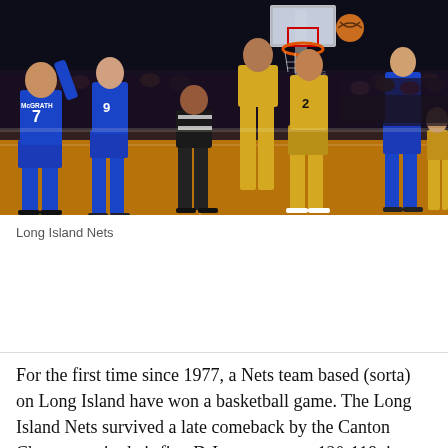[Figure (photo): Basketball game photo showing players in blue uniforms (Long Island Nets) and gold uniforms competing on a hardwood court. Player #7 McGrath visible on left in blue. A referee in black is visible. A basketball hoop/backboard is visible in the upper right background.]
Long Island Nets
For the first time since 1977, a Nets team based (sorta) on Long Island have won a basketball game. The Long Island Nets survived a late comeback by the Canton Charge to win their first D-League game, 120-118, in